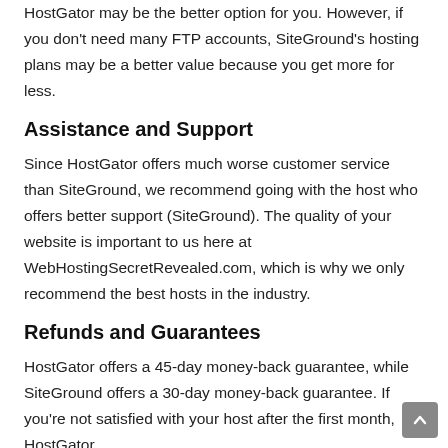HostGator may be the better option for you. However, if you don't need many FTP accounts, SiteGround's hosting plans may be a better value because you get more for less.
Assistance and Support
Since HostGator offers much worse customer service than SiteGround, we recommend going with the host who offers better support (SiteGround). The quality of your website is important to us here at WebHostingSecretRevealed.com, which is why we only recommend the best hosts in the industry.
Refunds and Guarantees
HostGator offers a 45-day money-back guarantee, while SiteGround offers a 30-day money-back guarantee. If you're not satisfied with your host after the first month, HostGator